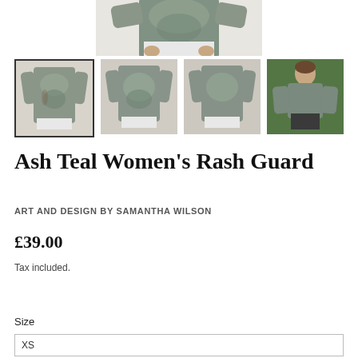[Figure (photo): Main product image cropped at top showing a woman wearing an Ash Teal patterned long-sleeve rash guard with white pants, torso and hands visible]
[Figure (photo): Thumbnail 1 (selected, with border): front view of woman wearing Ash Teal rash guard]
[Figure (photo): Thumbnail 2: back view of woman wearing Ash Teal rash guard]
[Figure (photo): Thumbnail 3: back view of woman wearing Ash Teal rash guard, slightly different angle]
[Figure (photo): Thumbnail 4: woman wearing Ash Teal rash guard outdoors with green trees in background]
Ash Teal Women's Rash Guard
ART AND DESIGN BY SAMANTHA WILSON
£39.00
Tax included.
Size
XS